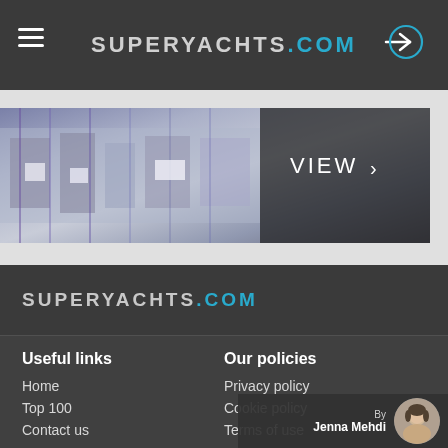SUPERYACHTS.COM
[Figure (photo): Aerial view of a marina/boat show with yachts, with a dark overlay on the right side showing 'VIEW >']
SUPERYACHTS.COM
Useful links
Our policies
Home
Privacy policy
Top 100
Cookie policy
Contact us
Terms of use
By Jenna Mehdi